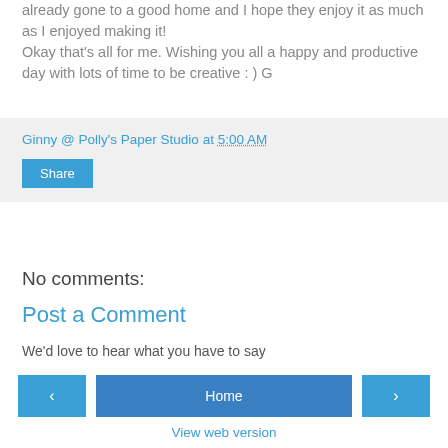already gone to a good home and I hope they enjoy it as much as I enjoyed making it! Okay that's all for me. Wishing you all a happy and productive day with lots of time to be creative : ) G
Ginny @ Polly's Paper Studio at 5:00 AM
Share
No comments:
Post a Comment
We'd love to hear what you have to say
‹  Home  ›
View web version